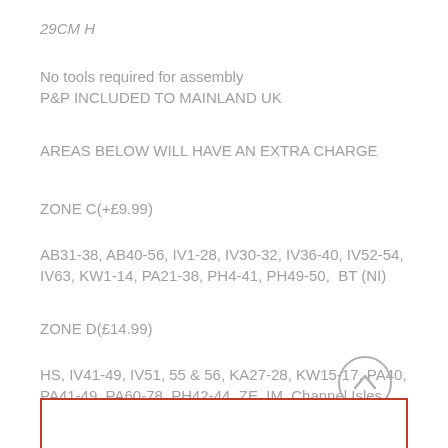29CM H
No tools required for assembly
P&P INCLUDED TO MAINLAND UK
AREAS BELOW WILL HAVE AN EXTRA CHARGE
ZONE C(+£9.99)
AB31-38, AB40-56, IV1-28, IV30-32, IV36-40, IV52-54, IV63, KW1-14, PA21-38, PH4-41, PH49-50,  BT (NI)
ZONE D(£14.99)
HS, IV41-49, IV51, 55 & 56, KA27-28, KW15-17, PA40, PA41-49, PA60-78, PH42-44, ZE, IM, Channel Isles